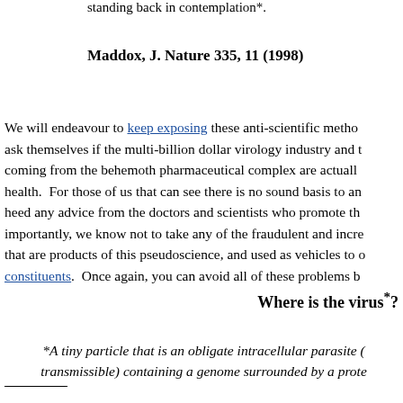standing back in contemplation*.
Maddox, J. Nature 335, 11 (1998)
We will endeavour to keep exposing these anti-scientific methods and ask themselves if the multi-billion dollar virology industry and the coming from the behemoth pharmaceutical complex are actually health.  For those of us that can see there is no sound basis to any heed any advice from the doctors and scientists who promote th importantly, we know not to take any of the fraudulent and incre that are products of this pseudoscience, and used as vehicles to constituents.  Once again, you can avoid all of these problems b
Where is the virus*?
*A tiny particle that is an obligate intracellular parasite ( transmissible) containing a genome surrounded by a prote